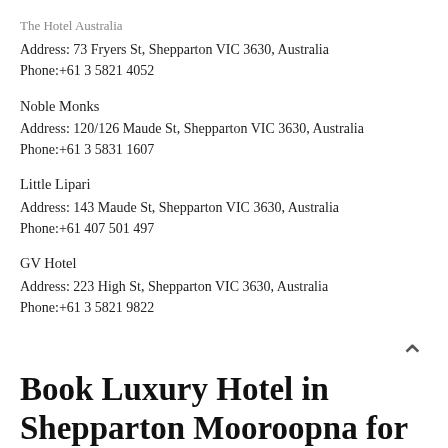The Hotel Australia
Address: 73 Fryers St, Shepparton VIC 3630, Australia
Phone:+61 3 5821 4052
Noble Monks
Address: 120/126 Maude St, Shepparton VIC 3630, Australia
Phone:+61 3 5831 1607
Little Lipari
Address: 143 Maude St, Shepparton VIC 3630, Australia
Phone:+61 407 501 497
GV Hotel
Address: 223 High St, Shepparton VIC 3630, Australia
Phone:+61 3 5821 9822
Book Luxury Hotel in Shepparton Mooroopna for